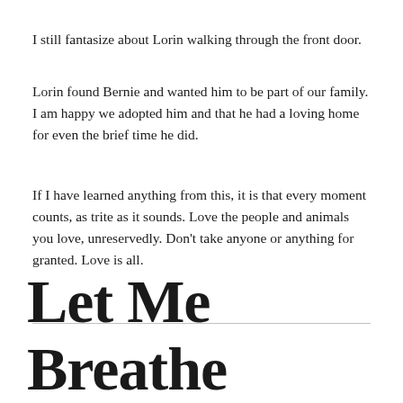I still fantasize about Lorin walking through the front door.
Lorin found Bernie and wanted him to be part of our family. I am happy we adopted him and that he had a loving home for even the brief time he did.
If I have learned anything from this, it is that every moment counts, as trite as it sounds. Love the people and animals you love, unreservedly. Don’t take anyone or anything for granted. Love is all.
Let Me Breathe